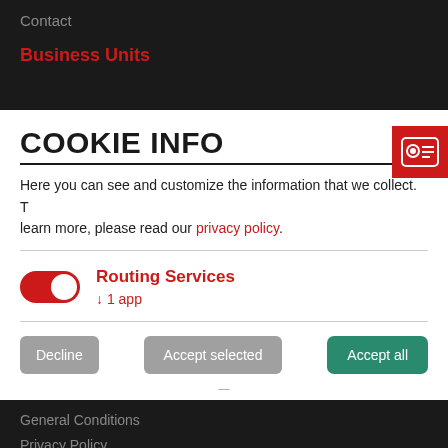Contact
Business Units
COOKIE INFO
Here you can see and customize the information that we collect. To learn more, please read our privacy policy.
Routing Services ↓ 1 app
Decline | Accept selected | Accept all
General Conditions
Privacy Policy
Cookies